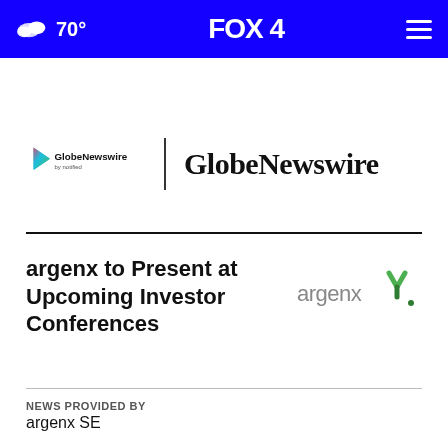70° FOX 4
[Figure (logo): GlobeNewswire by notified logo with play-button icon and GlobeNewswire text]
argenx to Present at Upcoming Investor Conferences
[Figure (logo): argenx logo in grey text with green checkmark icon]
NEWS PROVIDED BY
argenx SE